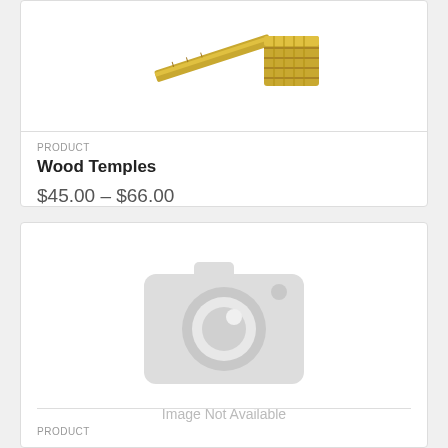[Figure (photo): Partial view of wood temple products (eyeglass temples) in gold/brass color against white background]
PRODUCT
Wood Temples
$45.00 – $66.00
[Figure (illustration): Placeholder camera icon indicating image not available]
Image Not Available
PRODUCT